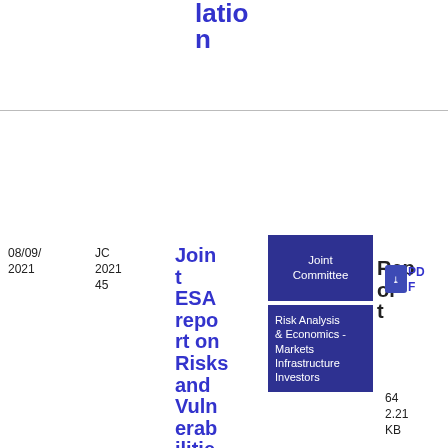lation
n
| Date | Code | Title | Type | Report | Format | Size |
| --- | --- | --- | --- | --- | --- | --- |
| 08/09/2021 | JC 2021 45 | Joint ESA report on Risks and Vulnerabilities in the EU financial system No 2 2021 | Joint Committee | Report | PDF | 64
2.21 KB |